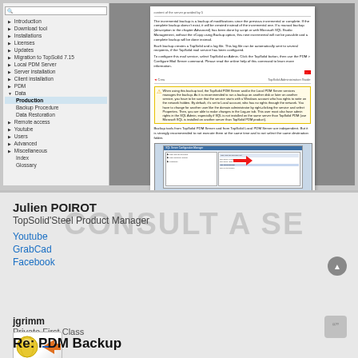[Figure (screenshot): Software documentation viewer showing a navigation panel on the left with items like Introduction, Download tool, Installations, Updates, Migration to TopSolid 7.15, Local PDM Server, Server installation, Client installation, PDM, Data (with sub-items: Production, Backup Procedure, Data Restoration), Remote access, Youtube, Users, Advanced, Miscellaneous, Index, Glossary. The right pane shows a document page with text about incremental backup, a warning block about TopSolid PDM server and local PDM server services, and a screenshot of a Windows dialog.]
Julien POIROT
TopSolid'Steel Product Manager
Youtube
GrabCad
Facebook
jgrimm
Private First Class
Re: PDM Backup